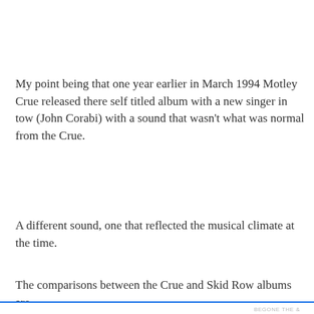My point being that one year earlier in March 1994 Motley Crue released there self titled album with a new singer in tow (John Corabi) with a sound that wasn't what was normal from the Crue.
A different sound, one that reflected the musical climate at the time.
The comparisons between the Crue and Skid Row albums are s
Privacy & Cookies: This site uses cookies. By continuing to use this website, you agree to their use.
To find out more, including how to control cookies, see here: Cookie Policy
Close and accept